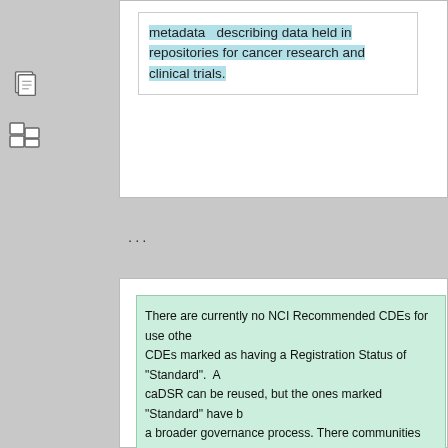metadata   describing data held in repositories for cancer research and clinical trials.
...
There are currently no NCI Recommended CDEs for use other than CDEs marked as having a Registration Status of "Standard".  All CDEs in caDSR can be reused, but the ones marked "Standard" have been through a broader governance process. There communities within NCI that have agreed to use a set of CDEs for specific purposes, for example TCGA, NCTN, and many others.  If you wish to collect data that is compatible with a specific group, you should begin by looking at the CDEs using the CDE Browser.  The Context name is an organizer for tree based navigation, and the "Advanced Search" provides ways to search for CDEs grouped by Classifications, or keywords.
Best Practices for creating CDEs  can be found   here  .
The    caDSR Form Builder    can be used to create, view and manage the Case Report Forms (CRFs) designs. Each question on a case report is generally backed by a caDSR CDE, though we do have some forms that were bulk loaded without CDEs. When a CDE is associated with